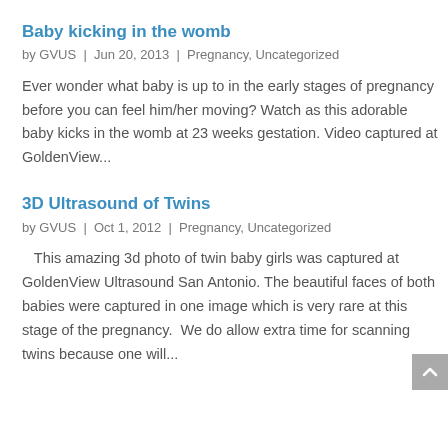Baby kicking in the womb
by GVUS  |  Jun 20, 2013  |  Pregnancy, Uncategorized
Ever wonder what baby is up to in the early stages of pregnancy before you can feel him/her moving? Watch as this adorable baby kicks in the womb at 23 weeks gestation. Video captured at GoldenView...
3D Ultrasound of Twins
by GVUS  |  Oct 1, 2012  |  Pregnancy, Uncategorized
This amazing 3d photo of twin baby girls was captured at GoldenView Ultrasound San Antonio. The beautiful faces of both babies were captured in one image which is very rare at this stage of the pregnancy. We do allow extra time for scanning twins because one will...